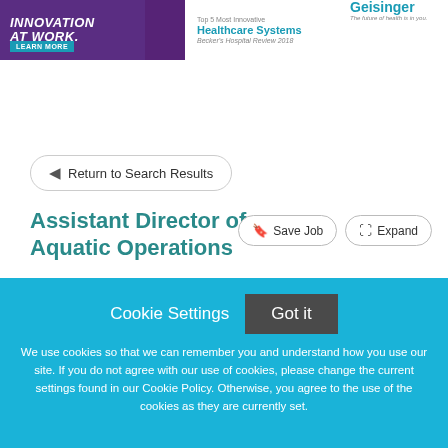[Figure (screenshot): Geisinger healthcare banner advertisement with purple section reading INNOVATION AT WORK with LEARN MORE button, center text Top 5 Most Innovative Healthcare Systems Becker's Hospital Review 2018, and Geisinger logo with tagline The future of health is in you.]
← Return to Search Results
Assistant Director of Aquatic Operations
Save Job
Expand
Cookie Settings
Got it
We use cookies so that we can remember you and understand how you use our site. If you do not agree with our use of cookies, please change the current settings found in our Cookie Policy. Otherwise, you agree to the use of the cookies as they are currently set.